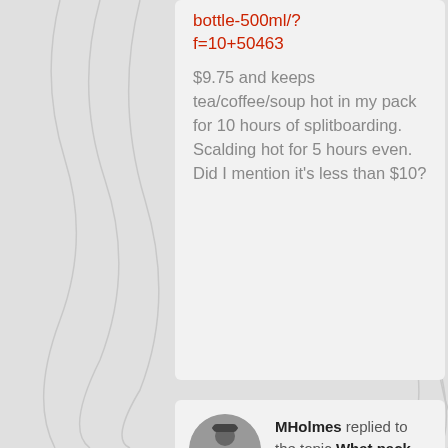bottle-500ml/?f=10+50463
$9.75 and keeps tea/coffee/soup hot in my pack for 10 hours of splitboarding. Scalding hot for 5 hours even. Did I mention it’s less than $10?
[Figure (photo): Circular avatar photo of MHolmes, a person outdoors in black and white]
MHolmes replied to the topic What pack do you use? in the forum The